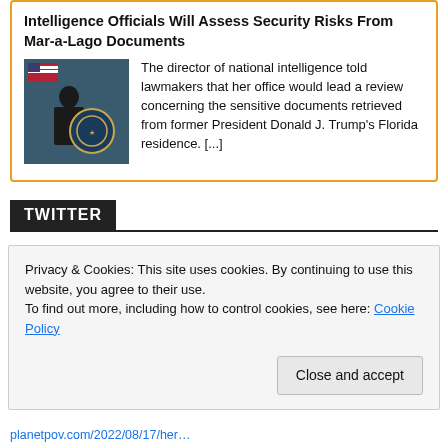Intelligence Officials Will Assess Security Risks From Mar-a-Lago Documents
The director of national intelligence told lawmakers that her office would lead a review concerning the sensitive documents retrieved from former President Donald J. Trump's Florida residence. [...]
TWITTER
Privacy & Cookies: This site uses cookies. By continuing to use this website, you agree to their use. To find out more, including how to control cookies, see here: Cookie Policy
planetpov.com/2022/08/17/her…